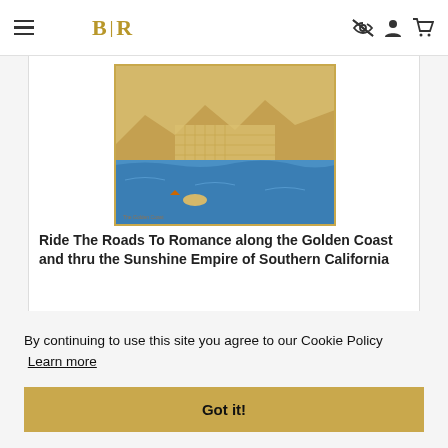BLR
[Figure (map): Vintage illustrated map of Southern California coastline with yellows and blues, titled 'Ride The Roads To Romance along the Golden Coast']
Ride The Roads To Romance along the Golden Coast and thru the Sunshine Empire of Southern California
By continuing to use this site you agree to our Cookie Policy  Learn more
Got it!